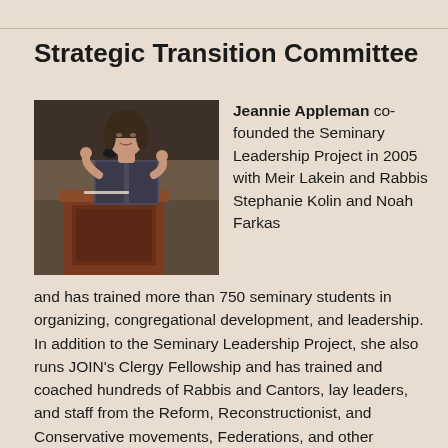Strategic Transition Committee
[Figure (photo): Woman speaking at a wooden podium with a microphone, wearing a patterned jacket, in a conference or event setting.]
Jeannie Appleman co-founded the Seminary Leadership Project in 2005 with Meir Lakein and Rabbis Stephanie Kolin and Noah Farkas and has trained more than 750 seminary students in organizing, congregational development, and leadership. In addition to the Seminary Leadership Project, she also runs JOIN's Clergy Fellowship and has trained and coached hundreds of Rabbis and Cantors, lay leaders, and staff from the Reform, Reconstructionist, and Conservative movements, Federations, and other communal organizations. Jeanine is currently working to create new ways to integrate traditional organizing with anti-oppression and anti-racist frameworks alongside JOIN staff and